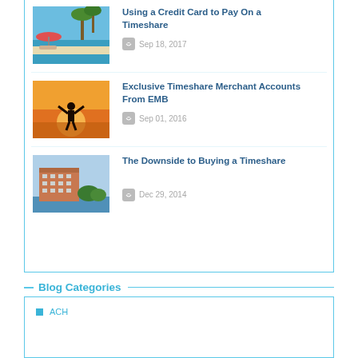[Figure (photo): Resort pool with beach chairs and palm trees under blue sky]
Using a Credit Card to Pay On a Timeshare
Sep 18, 2017
[Figure (photo): Silhouette of person with arms raised at sunset on beach]
Exclusive Timeshare Merchant Accounts From EMB
Sep 01, 2016
[Figure (photo): Luxury resort building on waterfront with clear sky]
The Downside to Buying a Timeshare
Dec 29, 2014
Blog Categories
ACH